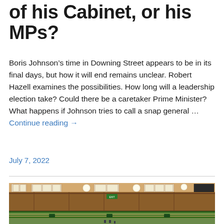of his Cabinet, or his MPs?
Boris Johnson’s time in Downing Street appears to be in its final days, but how it will end remains unclear. Robert Hazell examines the possibilities. How long will a leadership election take? Could there be a caretaker Prime Minister? What happens if Johnson tries to call a snap general … Continue reading →
July 7, 2022
[Figure (photo): Interior photograph of the UK House of Commons chamber showing the wooden panelled walls, green benches, and large windows with hanging globe lights]